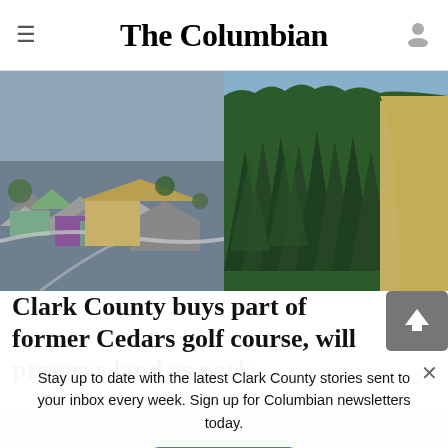The Columbian
[Figure (photo): Aerial photograph showing a residential neighborhood with houses and rooftops on the left half, and a dense forest of tall evergreen trees with dry golden hillside on the right half.]
Clark County buys part of former Cedars golf course, will preserve land as park
Stay up to date with the latest Clark County stories sent to your inbox every week. Sign up for Columbian newsletters today.